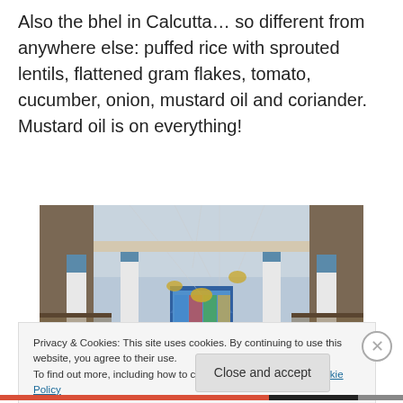Also the bhel in Calcutta… so different from anywhere else: puffed rice with sprouted lentils, flattened gram flakes, tomato, cucumber, onion, mustard oil and coriander. Mustard oil is on everything!
[Figure (photo): Interior of an ornate building (possibly a synagogue or historic hall) with tall white columns with blue bases, hanging lamps/chandeliers on long cords, arched windows with stained glass at the far end, and decorative upper balconies.]
Privacy & Cookies: This site uses cookies. By continuing to use this website, you agree to their use.
To find out more, including how to control cookies, see here: Cookie Policy
Close and accept